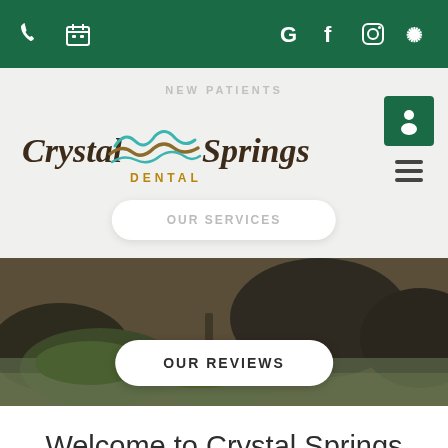Crystal Springs Dental - website screenshot with navigation bar, logo, social icons
[Figure (screenshot): Green top navigation bar with phone icon, calendar icon on left, and G, f, Instagram, Yelp icons on right]
[Figure (logo): Crystal Springs Dental logo with stylized wave/mountain graphic between Crystal and Springs text, DENTAL below]
NEW PATIENTS
OUR SERVICES
[Figure (photo): Nature photo of mossy rocks and river stream used as hero background image]
OUR REVIEWS
Welcome to Crystal Springs Dental